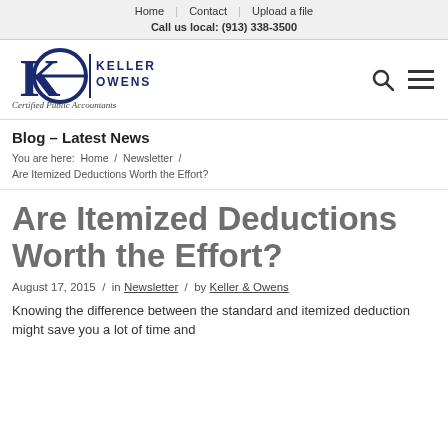Home | Contact | Upload a file
Call us local: (913) 338-3500
[Figure (logo): Keller Owens CPA logo with KO monogram and text 'KELLER OWENS Certified Public Accountants']
Blog – Latest News
You are here:  Home  /  Newsletter  /  Are Itemized Deductions Worth the Effort?
Are Itemized Deductions Worth the Effort?
August 17, 2015  /  in Newsletter  /  by Keller & Owens
Knowing the difference between the standard and itemized deduction might save you a lot of time and